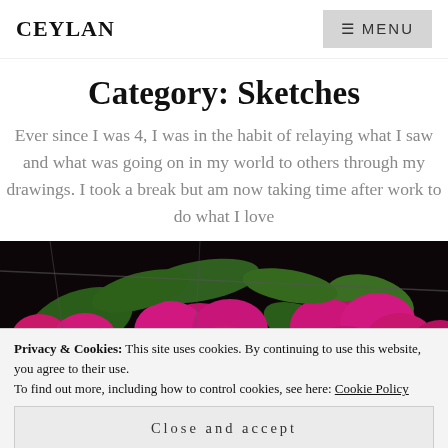CEYLAN  ≡ MENU
Category: Sketches
Ever since I was 4, I was in the habit of relaying what I saw and what was going on in my world to others through my drawings. I took a break but am now taking time after work to do what I love
[Figure (photo): Close-up photo of bright magenta/fuchsia orchid flowers with green leaves against a dark background]
Privacy & Cookies: This site uses cookies. By continuing to use this website, you agree to their use.
To find out more, including how to control cookies, see here: Cookie Policy
Close and accept